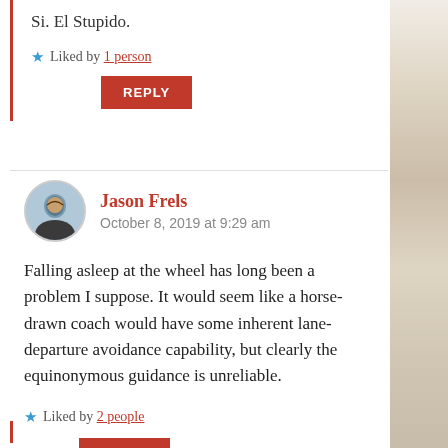Si. El Stupido.
Liked by 1 person
REPLY
Jason Frels
October 8, 2019 at 9:29 am
Falling asleep at the wheel has long been a problem I suppose. It would seem like a horse-drawn coach would have some inherent lane-departure avoidance capability, but clearly the equinonymous guidance is unreliable.
Liked by 2 people
REPLY